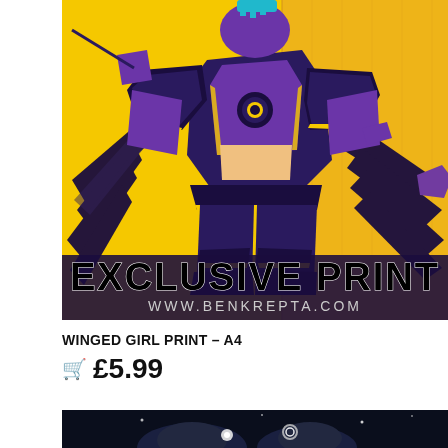[Figure (illustration): Colorful comic-style illustration of a robotic/armored winged girl character in purple, black and yellow/gold colors on a yellow background. Text overlay reads 'EXCLUSIVE PRINT' and 'WWW.BENKREPTA.COM' at the bottom of the image.]
WINGED GIRL PRINT – A4
🛒 £5.99
[Figure (illustration): Partial view of a dark-themed illustration showing a figure in a dark cloak/cape on a dark navy/black background, partially visible at bottom of page.]